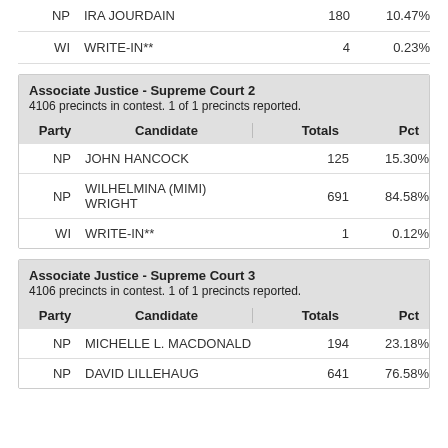| Party | Candidate | Totals | Pct |
| --- | --- | --- | --- |
| NP | IRA JOURDAIN | 180 | 10.47% |
| WI | WRITE-IN** | 4 | 0.23% |
Associate Justice - Supreme Court 2
4106 precincts in contest. 1 of 1 precincts reported.
| Party | Candidate | Totals | Pct |
| --- | --- | --- | --- |
| NP | JOHN HANCOCK | 125 | 15.30% |
| NP | WILHELMINA (MIMI) WRIGHT | 691 | 84.58% |
| WI | WRITE-IN** | 1 | 0.12% |
Associate Justice - Supreme Court 3
4106 precincts in contest. 1 of 1 precincts reported.
| Party | Candidate | Totals | Pct |
| --- | --- | --- | --- |
| NP | MICHELLE L. MACDONALD | 194 | 23.18% |
| NP | DAVID LILLEHAUG | 641 | 76.58% |